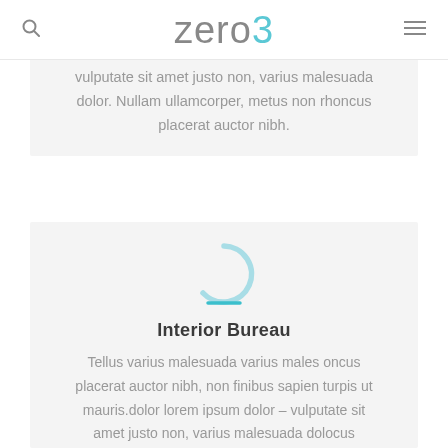zero3
vulputate sit amet justo non, varius malesuada dolor. Nullam ullamcorper, metus non rhoncus placerat auctor nibh.
[Figure (illustration): Circular icon outline with a light blue horizontal bar beneath it, on a light gray background.]
Interior Bureau
Tellus varius malesuada varius males oncus placerat auctor nibh, non finibus sapien turpis ut mauris.dolor lorem ipsum dolor – vulputate sit amet justo non, varius malesuada dolocus placerat auctor nibh.